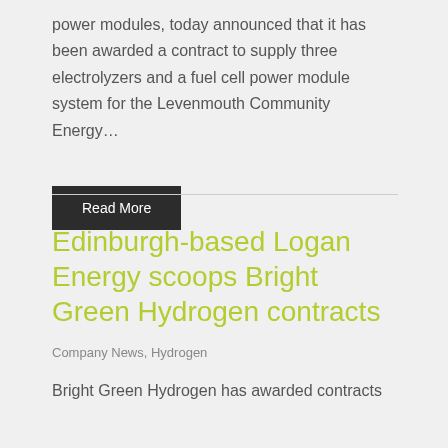power modules, today announced that it has been awarded a contract to supply three electrolyzers and a fuel cell power module system for the Levenmouth Community Energy…
Read More
Edinburgh-based Logan Energy scoops Bright Green Hydrogen contracts
Company News, Hydrogen
Bright Green Hydrogen has awarded contracts